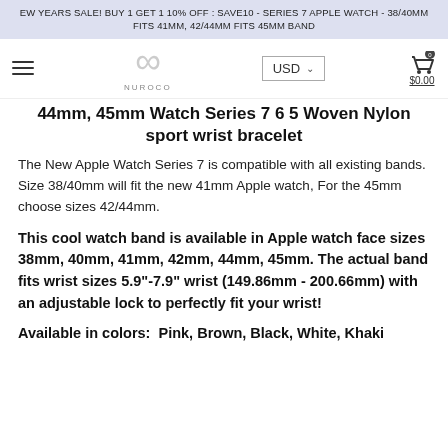EW YEARS SALE! BUY 1 GET 1 10% OFF : SAVE10 - SERIES 7 APPLE WATCH - 38/40MM FITS 41MM, 42/44MM FITS 45MM BAND
[Figure (logo): Nuroco infinity logo with hamburger menu, USD currency selector, and shopping cart icon showing $0.00]
44mm, 45mm Watch Series 7 6 5 Woven Nylon sport wrist bracelet
The New Apple Watch Series 7 is compatible with all existing bands. Size 38/40mm will fit the new 41mm Apple watch, For the 45mm choose sizes 42/44mm.
This cool watch band is available in Apple watch face sizes 38mm, 40mm, 41mm, 42mm, 44mm, 45mm. The actual band fits wrist sizes 5.9"-7.9" wrist (149.86mm - 200.66mm) with an adjustable lock to perfectly fit your wrist!
Available in colors:  Pink, Brown, Black, White, Khaki